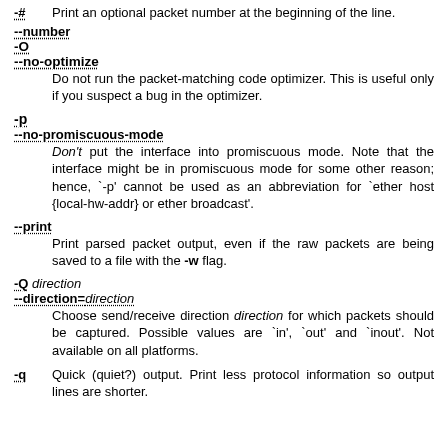-#   Print an optional packet number at the beginning of the line.
--number
-O
--no-optimize
  Do not run the packet-matching code optimizer. This is useful only if you suspect a bug in the optimizer.
-p
--no-promiscuous-mode
  Don't put the interface into promiscuous mode. Note that the interface might be in promiscuous mode for some other reason; hence, `-p' cannot be used as an abbreviation for `ether host {local-hw-addr} or ether broadcast'.
--print
  Print parsed packet output, even if the raw packets are being saved to a file with the -w flag.
-Q direction
--direction=direction
  Choose send/receive direction direction for which packets should be captured. Possible values are `in', `out' and `inout'. Not available on all platforms.
-q   Quick (quiet?) output. Print less protocol information so output lines are shorter.